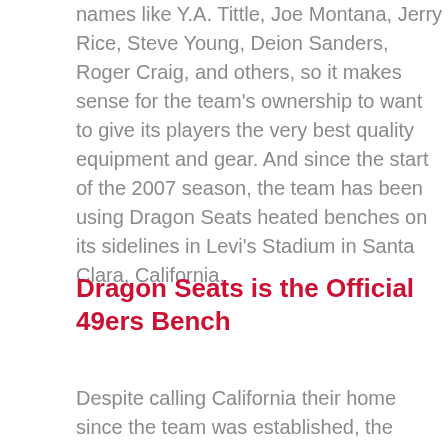names like Y.A. Tittle, Joe Montana, Jerry Rice, Steve Young, Deion Sanders, Roger Craig, and others, so it makes sense for the team's ownership to want to give its players the very best quality equipment and gear. And since the start of the 2007 season, the team has been using Dragon Seats heated benches on its sidelines in Levi's Stadium in Santa Clara, California.
Dragon Seats is the Official 49ers Bench
Despite calling California their home since the team was established, the 49ers don't always play in typical California weather. In the later...